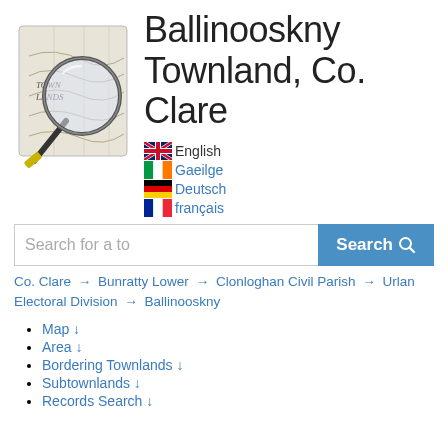[Figure (logo): Townlands website logo: a magnifying glass over an old map with text TOWN LANDS]
Ballinooskny Townland, Co. Clare
English (flag)
Gaeilge (Ireland flag)
Deutsch (Germany flag)
français (France flag)
Search for a townland... [Search button]
Co. Clare → Bunratty Lower → Clonloghan Civil Parish → Urlan Electoral Division → Ballinooskny
Map ↓
Area ↓
Bordering Townlands ↓
Subtownlands ↓
Records Search ↓